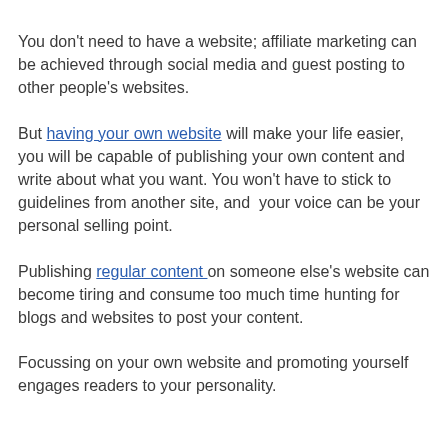You don't need to have a website; affiliate marketing can be achieved through social media and guest posting to other people's websites.
But having your own website will make your life easier, you will be capable of publishing your own content and write about what you want. You won't have to stick to guidelines from another site, and  your voice can be your personal selling point.
Publishing regular content on someone else's website can become tiring and consume too much time hunting for blogs and websites to post your content.
Focussing on your own website and promoting yourself engages readers to your personality.